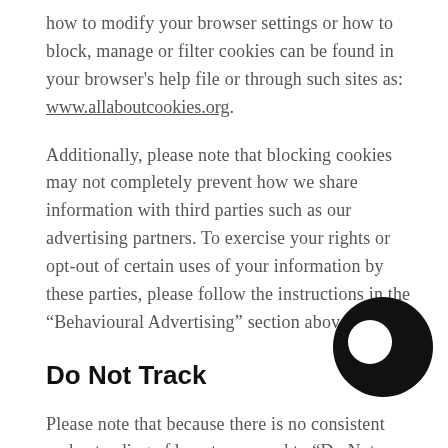how to modify your browser settings or how to block, manage or filter cookies can be found in your browser's help file or through such sites as: www.allaboutcookies.org.
Additionally, please note that blocking cookies may not completely prevent how we share information with third parties such as our advertising partners. To exercise your rights or opt-out of certain uses of your information by these parties, please follow the instructions in the “Behavioural Advertising” section above.
Do Not Track
Please note that because there is no consistent industry understanding of how to respond to “Do Not Track”